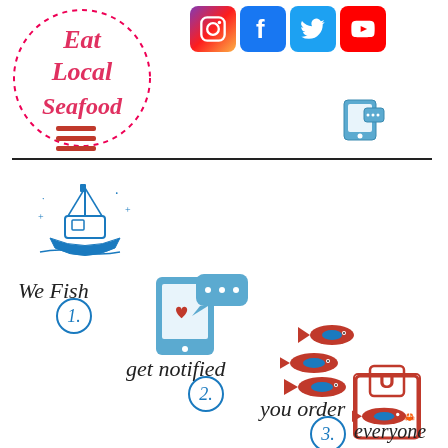[Figure (logo): Eat Local Seafood circular dotted logo with red script text]
[Figure (infographic): Social media icons: Instagram, Facebook, Twitter, YouTube]
[Figure (infographic): Mobile phone notification icon top right of header]
[Figure (infographic): Hamburger menu icon with red stripes]
[Figure (infographic): Step 1: fishing boat icon]
We Fish
[Figure (infographic): Step 1 circle number 1]
[Figure (infographic): Step 2: mobile phone with notification bubble icon]
get notified
[Figure (infographic): Step 2 circle number 2]
[Figure (infographic): Step 3: three fish icons in red and blue]
you order
[Figure (infographic): Step 3 circle number 3]
[Figure (infographic): Shopping bag with U label and fish icon]
everyone